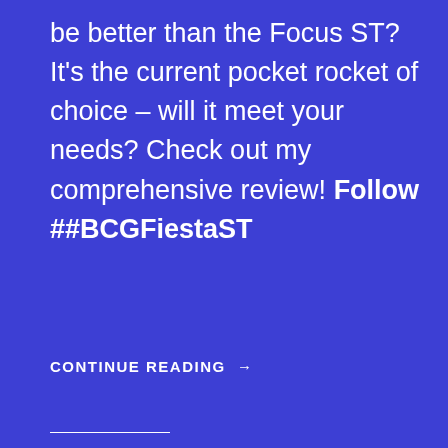be better than the Focus ST? It's the current pocket rocket of choice – will it meet your needs? Check out my comprehensive review! Follow ##BCGFiestaST
CONTINUE READING →
Share this:
Facebook  Twitter  Email  LinkedIn  Print
More
Like
Be the first to like this.